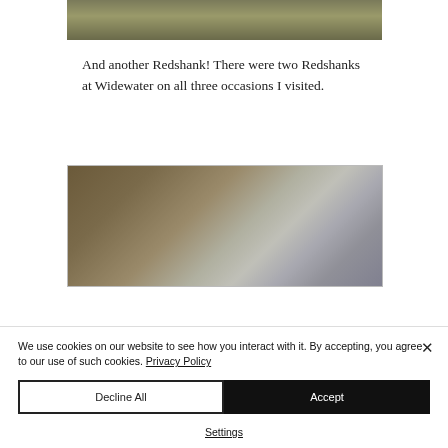[Figure (photo): Top portion of a nature/wildlife photo, showing water and vegetation in muted green/brown tones]
And another Redshank! There were two Redshanks at Widewater on all three occasions I visited.
[Figure (photo): Photograph of a Redshank bird near water, with dry reeds/grass in the background and rippled water, sepia/muted tones]
We use cookies on our website to see how you interact with it. By accepting, you agree to our use of such cookies. Privacy Policy
Decline All
Accept
Settings